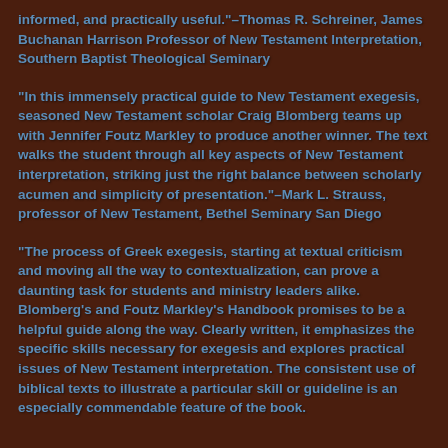informed, and practically useful."–Thomas R. Schreiner, James Buchanan Harrison Professor of New Testament Interpretation, Southern Baptist Theological Seminary
"In this immensely practical guide to New Testament exegesis, seasoned New Testament scholar Craig Blomberg teams up with Jennifer Foutz Markley to produce another winner. The text walks the student through all key aspects of New Testament interpretation, striking just the right balance between scholarly acumen and simplicity of presentation."–Mark L. Strauss, professor of New Testament, Bethel Seminary San Diego
"The process of Greek exegesis, starting at textual criticism and moving all the way to contextualization, can prove a daunting task for students and ministry leaders alike. Blomberg's and Foutz Markley's Handbook promises to be a helpful guide along the way. Clearly written, it emphasizes the specific skills necessary for exegesis and explores practical issues of New Testament interpretation. The consistent use of biblical texts to illustrate a particular skill or guideline is an especially commendable feature of the book.